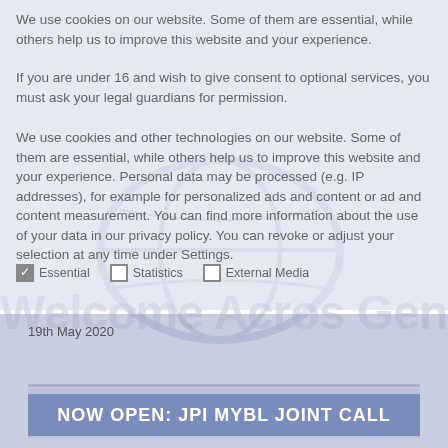We use cookies on our website. Some of them are essential, while others help us to improve this website and your experience.
If you are under 16 and wish to give consent to optional services, you must ask your legal guardians for permission.
We use cookies and other technologies on our website. Some of them are essential, while others help us to improve this website and your experience. Personal data may be processed (e.g. IP addresses), for example for personalized ads and content or ad and content measurement. You can find more information about the use of your data in our privacy policy. You can revoke or adjust your selection at any time under Settings.
Essential
Statistics
External Media
19th May 2020
NOW OPEN: JPI MYBL JOINT CALL